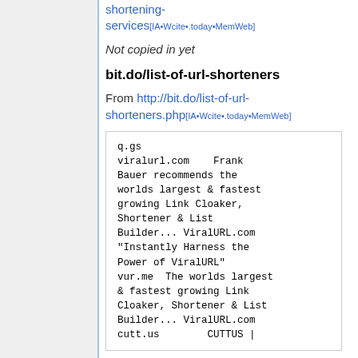shortening-services[IA•Wcite•.today•MemWeb]
Not copied in yet
bit.do/list-of-url-shorteners
From http://bit.do/list-of-url-shorteners.php[IA•Wcite•.today•MemWeb]
q.gs
viralurl.com    Frank Bauer recommends the worlds largest & fastest growing Link Cloaker, Shortener & List Builder... ViralURL.com "Instantly Harness the Power of ViralURL"
vur.me  The worlds largest & fastest growing Link Cloaker, Shortener & List Builder... ViralURL.com
cutt.us         CUTTUS |